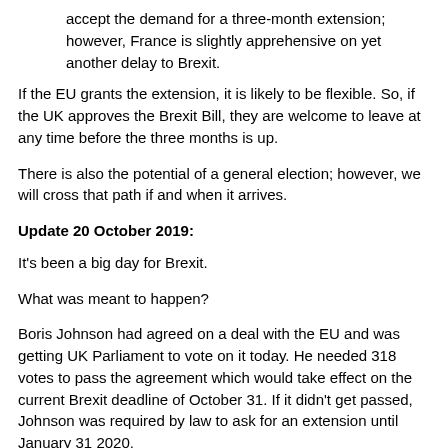accept the demand for a three-month extension; however, France is slightly apprehensive on yet another delay to Brexit.
If the EU grants the extension, it is likely to be flexible. So, if the UK approves the Brexit Bill, they are welcome to leave at any time before the three months is up.
There is also the potential of a general election; however, we will cross that path if and when it arrives.
Update 20 October 2019:
It's been a big day for Brexit.
What was meant to happen?
Boris Johnson had agreed on a deal with the EU and was getting UK Parliament to vote on it today. He needed 318 votes to pass the agreement which would take effect on the current Brexit deadline of October 31. If it didn't get passed, Johnson was required by law to ask for an extension until January 31 2020.
What actually happened?